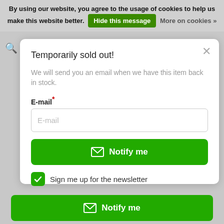By using our website, you agree to the usage of cookies to help us make this website better. Hide this message More on cookies »
[Figure (screenshot): Modal dialog on a website showing a 'Temporarily sold out!' notification form with email input, Notify me button, and newsletter signup checkbox]
Temporarily sold out!
We will send you an email when we have this item back in stock.
E-mail*
Notify me
Sign me up for the newsletter
Notify me